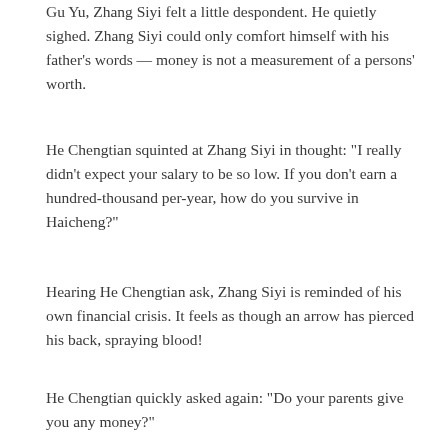Gu Yu, Zhang Siyi felt a little despondent. He quietly sighed. Zhang Siyi could only comfort himself with his father's words — money is not a measurement of a persons' worth.
He Chengtian squinted at Zhang Siyi in thought: "I really didn't expect your salary to be so low. If you don't earn a hundred-thousand per-year, how do you survive in Haicheng?"
Hearing He Chengtian ask, Zhang Siyi is reminded of his own financial crisis. It feels as though an arrow has pierced his back, spraying blood!
He Chengtian quickly asked again: "Do your parents give you any money?"